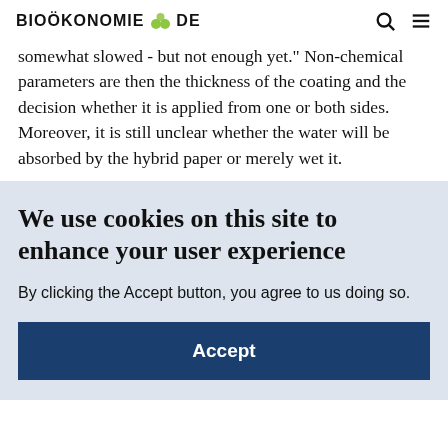BIOÖKONOMIE DE
somewhat slowed - but not enough yet." Non-chemical parameters are then the thickness of the coating and the decision whether it is applied from one or both sides. Moreover, it is still unclear whether the water will be absorbed by the hybrid paper or merely wet it.
We use cookies on this site to enhance your user experience
By clicking the Accept button, you agree to us doing so.
Accept